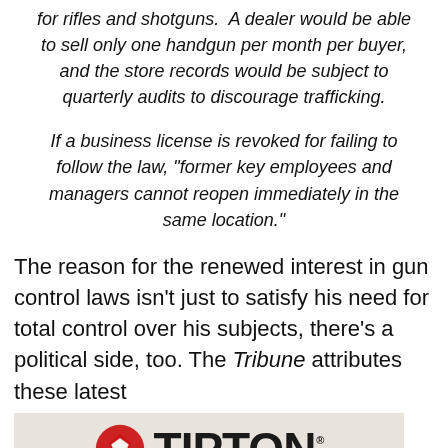for rifles and shotguns. A dealer would be able to sell only one handgun per month per buyer, and the store records would be subject to quarterly audits to discourage trafficking.
If a business license is revoked for failing to follow the law, “former key employees and managers cannot reopen immediately in the same location.”
The reason for the renewed interest in gun control laws isn’t just to satisfy his need for total control over his subjects, there’s a political side, too. The Tribune attributes these latest
[Figure (logo): Tipton brand logo with red pentagon icon on left and bold black TIPTON text on right, on a beige/tan background]